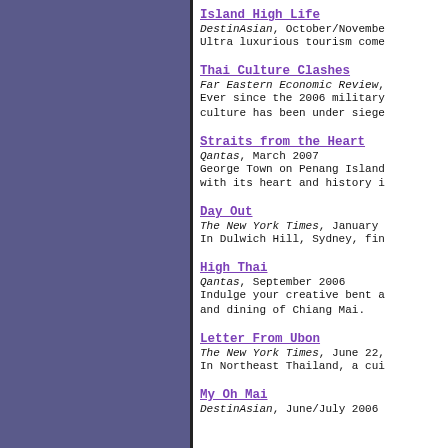Island High Life
DestinAsian, October/November
Ultra luxurious tourism come
Thai Culture Clashes
Far Eastern Economic Review,
Ever since the 2006 military culture has been under siege
Straits from the Heart
Qantas, March 2007
George Town on Penang Island with its heart and history i
Day Out
The New York Times, January
In Dulwich Hill, Sydney, fin
High Thai
Qantas, September 2006
Indulge your creative bent a and dining of Chiang Mai.
Letter From Ubon
The New York Times, June 22,
In Northeast Thailand, a cui
My Oh Mai
DestinAsian, June/July 2006